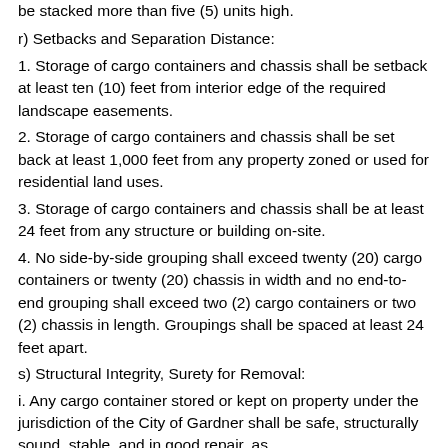be stacked more than five (5) units high.
r) Setbacks and Separation Distance:
1. Storage of cargo containers and chassis shall be setback at least ten (10) feet from interior edge of the required landscape easements.
2. Storage of cargo containers and chassis shall be set back at least 1,000 feet from any property zoned or used for residential land uses.
3. Storage of cargo containers and chassis shall be at least 24 feet from any structure or building on-site.
4. No side-by-side grouping shall exceed twenty (20) cargo containers or twenty (20) chassis in width and no end-to-end grouping shall exceed two (2) cargo containers or two (2) chassis in length. Groupings shall be spaced at least 24 feet apart.
s) Structural Integrity, Surety for Removal:
i. Any cargo container stored or kept on property under the jurisdiction of the City of Gardner shall be safe, structurally sound, stable, and in good repair, as